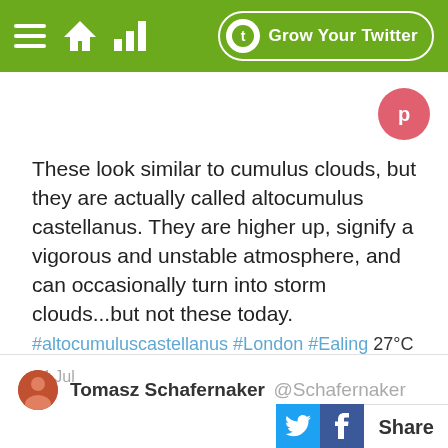Grow Your Twitter
These look similar to cumulus clouds, but they are actually called altocumulus castellanus. They are higher up, signify a vigorous and unstable atmosphere, and can occasionally turn into storm clouds...but not these today. #altocumuluscastellanus #London #Ealing 27°C
24 Jul
Tomasz Schafernaker @Schafernaker